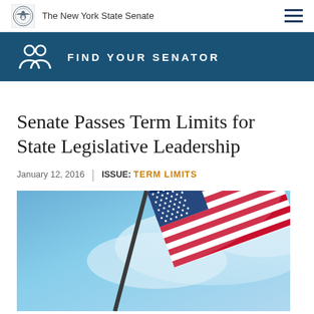The New York State Senate
FIND YOUR SENATOR
Senate Passes Term Limits for State Legislative Leadership
January 12, 2016  |  ISSUE: TERM LIMITS
[Figure (photo): American flag waving against a blue sky with clouds]